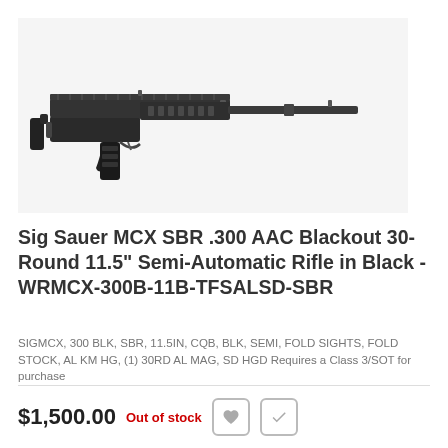[Figure (photo): Sig Sauer MCX SBR semi-automatic rifle in black, shown in profile view on a light gray background]
Sig Sauer MCX SBR .300 AAC Blackout 30-Round 11.5" Semi-Automatic Rifle in Black - WRMCX-300B-11B-TFSALSD-SBR
SIGMCX, 300 BLK, SBR, 11.5IN, CQB, BLK, SEMI, FOLD SIGHTS, FOLD STOCK, AL KM HG, (1) 30RD AL MAG, SD HGD Requires a Class 3/SOT for purchase
$1,500.00  Out of stock